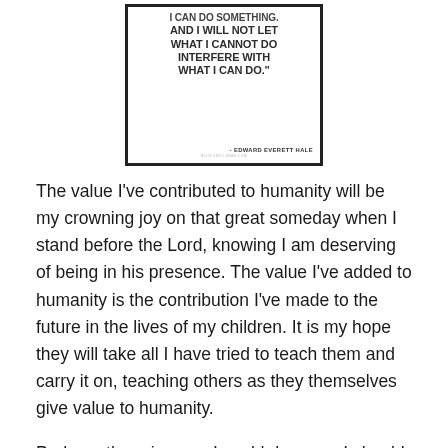[Figure (illustration): A framed quote poster with bold uppercase text reading 'I CAN DO SOMETHING. AND I WILL NOT LET WHAT I CANNOT DO INTERFERE WITH WHAT I CAN DO.' attributed to EDWARD EVERETT HALE]
The value I've contributed to humanity will be my crowning joy on that great someday when I stand before the Lord, knowing I am deserving of being in his presence. The value I've added to humanity is the contribution I've made to the future in the lives of my children. It is my hope they will take all I have tried to teach them and carry it on, teaching others as they themselves give value to humanity.
Perhaps there is more I could do, more I should do. I know